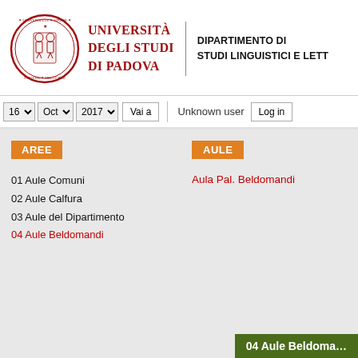[Figure (logo): Università degli Studi di Padova circular seal/crest in red]
Università degli Studi di Padova
DIPARTIMENTO DI STUDI LINGUISTICI E LETT…
16 ▾  Oct ▾  2017 ▾  Vai a  |  Unknown user  Log in
AREE
AULE
Aula Pal. Beldomandi
01 Aule Comuni
02 Aule Calfura
03 Aule del Dipartimento
04 Aule Beldomandi
04 Aule Beldoma…